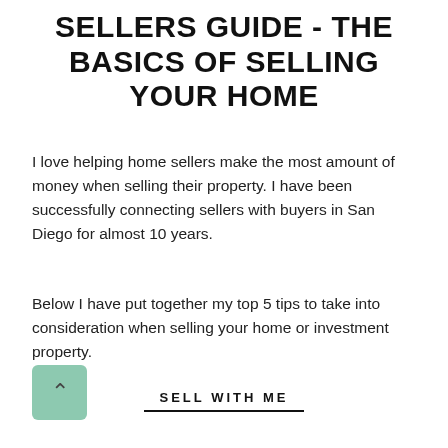SELLERS GUIDE - THE BASICS OF SELLING YOUR HOME
I love helping home sellers make the most amount of money when selling their property. I have been successfully connecting sellers with buyers in San Diego for almost 10 years.
Below I have put together my top 5 tips to take into consideration when selling your home or investment property.
SELL WITH ME